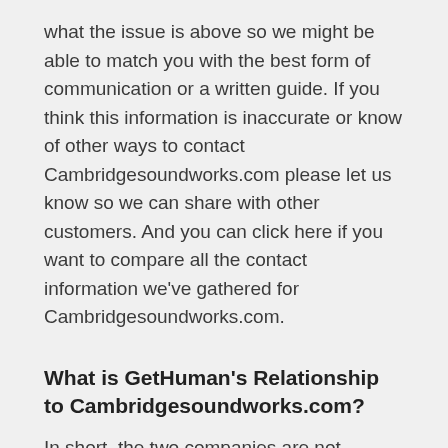what the issue is above so we might be able to match you with the best form of communication or a written guide. If you think this information is inaccurate or know of other ways to contact Cambridgesoundworks.com please let us know so we can share with other customers. And you can click here if you want to compare all the contact information we've gathered for Cambridgesoundworks.com.
What is GetHuman's Relationship to Cambridgesoundworks.com?
In short, the two companies are not related. GetHuman builds free tools and shares information amongst customers of companies like